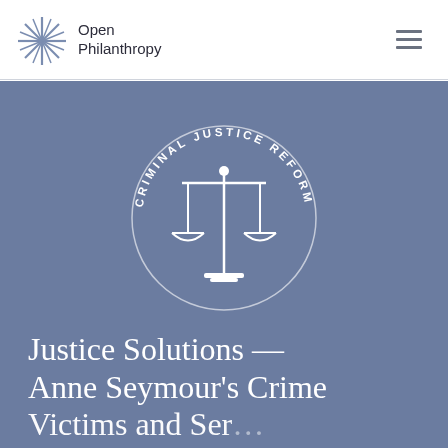[Figure (logo): Open Philanthropy logo: starburst/asterisk icon in slate blue next to the text 'Open Philanthropy' in dark charcoal, sans-serif font]
[Figure (illustration): Criminal Justice Reform circular badge with scales of justice icon in the center, text 'CRIMINAL JUSTICE REFORM' arced around the top on a slate-blue background, all in white]
Justice Solutions — Anne Seymour's Crime Victims and Services